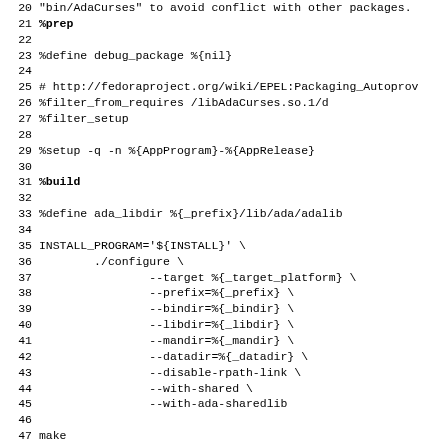Code listing lines 20-51 of an RPM spec file showing %prep, %define, %filter, %setup, %build, %define ada_libdir, INSTALL_PROGRAM configure block, make, %install, and RPM_BUILD_ROOT check